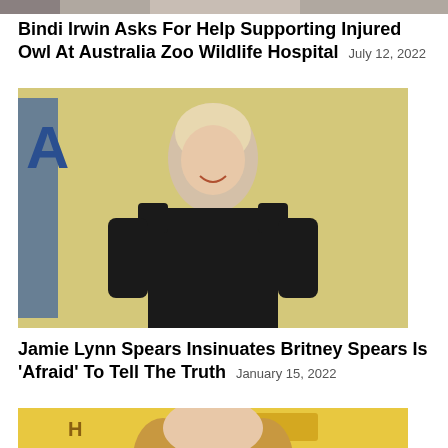[Figure (photo): Partial photo of a person at top of page (Bindi Irwin article image, cropped)]
Bindi Irwin Asks For Help Supporting Injured Owl At Australia Zoo Wildlife Hospital July 12, 2022
[Figure (photo): Photo of Jamie Lynn Spears in a black sparkly dress with deep V-neckline, smiling against a yellow background with blue lettering]
Jamie Lynn Spears Insinuates Britney Spears Is 'Afraid' To Tell The Truth January 15, 2022
[Figure (photo): Partial photo of a woman with long blonde hair, casino background visible, article image cropped at bottom]